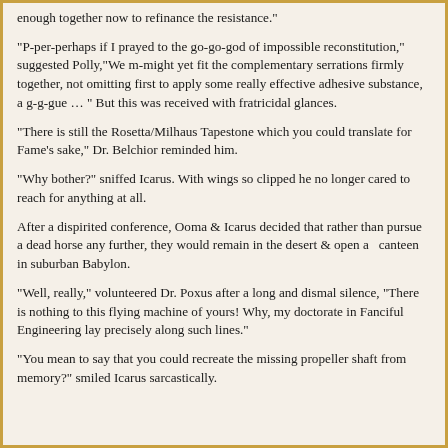enough together now to refinance the resistance."
"P-per-perhaps if I prayed to the go-go-god of impossible reconstitution," suggested Polly,"We m-might yet fit the complementary serrations firmly together, not omitting first to apply some really effective adhesive substance, a g-g-gue … " But this was received with fratricidal glances.
"There is still the Rosetta/Milhaus Tapestone which you could translate for Fame's sake," Dr. Belchior reminded him.
"Why bother?" sniffed Icarus. With wings so clipped he no longer cared to reach for anything at all.
After a dispirited conference, Ooma & Icarus decided that rather than pursue a dead horse any further, they would remain in the desert & open a  canteen in suburban Babylon.
"Well, really," volunteered Dr. Poxus after a long and dismal silence, "There is nothing to this flying machine of yours! Why, my doctorate in Fanciful Engineering lay precisely along such lines."
"You mean to say that you could recreate the missing propeller shaft from memory?" smiled Icarus sarcastically.